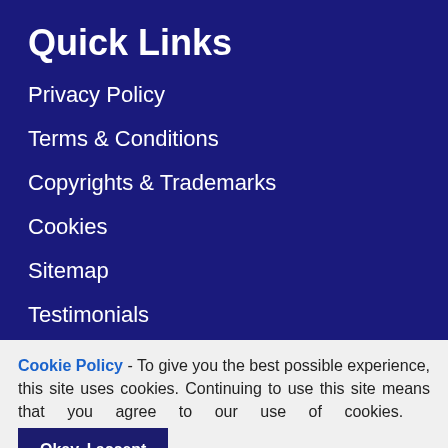Quick Links
Privacy Policy
Terms & Conditions
Copyrights & Trademarks
Cookies
Sitemap
Testimonials
Modern Slavery Statement
Cookie Policy - To give you the best possible experience, this site uses cookies. Continuing to use this site means that you agree to our use of cookies.   Okay, I accept